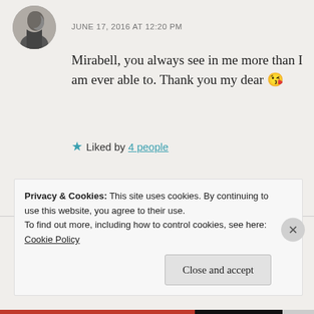[Figure (photo): Circular avatar photo of a man in profile, black and white]
JUNE 17, 2016 AT 12:20 PM
Mirabell, you always see in me more than I am ever able to. Thank you my dear 😘
★ Liked by 4 people
REPLY
Privacy & Cookies: This site uses cookies. By continuing to use this website, you agree to their use.
To find out more, including how to control cookies, see here: Cookie Policy
Close and accept